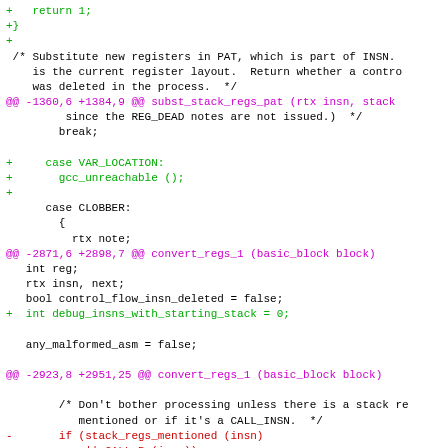Code diff showing changes to stack register substitution and convert_regs_1 function in a C source file using unified diff format.